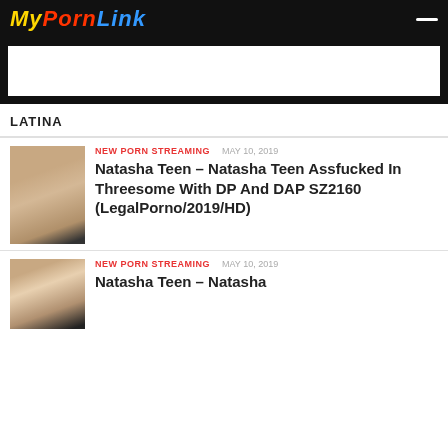MyPornLink
[Figure (other): Advertisement banner placeholder (white rectangle on dark background)]
LATINA
[Figure (photo): Thumbnail photo for article 1]
NEW PORN STREAMING  MAY 10, 2019
Natasha Teen – Natasha Teen Assfucked In Threesome With DP And DAP SZ2160 (LegalPorno/2019/HD)
[Figure (photo): Thumbnail photo for article 2]
NEW PORN STREAMING  MAY 10, 2019
Natasha Teen – Natasha